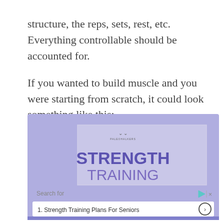structure, the reps, sets, rest, etc. Everything controllable should be accounted for.
If you wanted to build muscle and you were starting from scratch, it could look something like this:
[Figure (screenshot): Advertisement screenshot showing a purple/lavender background with a nested content box displaying 'STRENGTH TRAINING' in large bold purple text. Below is a search bar with 'Search for' label and a result row showing '1. Strength Training Plans For Seniors' with a right-arrow button.]